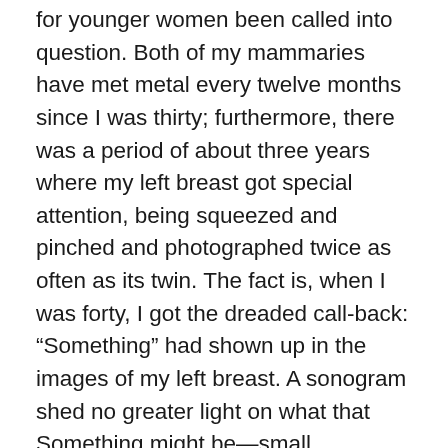for younger women been called into question. Both of my mammaries have met metal every twelve months since I was thirty; furthermore, there was a period of about three years where my left breast got special attention, being squeezed and pinched and photographed twice as often as its twin. The fact is, when I was forty, I got the dreaded call-back: “Something” had shown up in the images of my left breast. A sonogram shed no greater light on what that Something might be—small calcifications, perhaps, but my breast tissue, as little as there was of it, was too dense to tell for sure. We decided to take a wait-and-see approach, following up with more frequent mammograms that would reveal whether the Something had changed or grown. I’m not sure why this specter of an actual anomaly taking up residence in my chest did not send me into a panic: perhaps it was because no one mentioned any consequence more dire than having my left side mashed